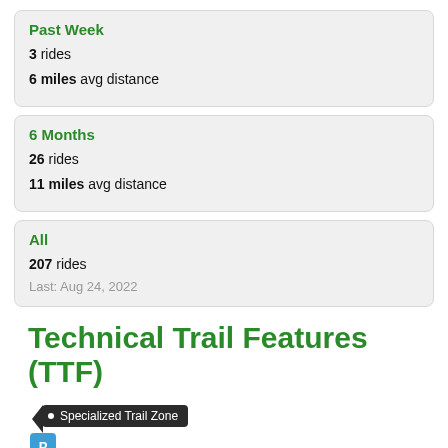Past Week
3 rides
6 miles avg distance
6 Months
26 rides
11 miles avg distance
All
207 rides
Last: Aug 24, 2022
Technical Trail Features (TTF)
[Figure (infographic): Dark arrow badge with bullet point and text 'Specialized Trail Zone', plus a blue location pin badge with letter P below it]